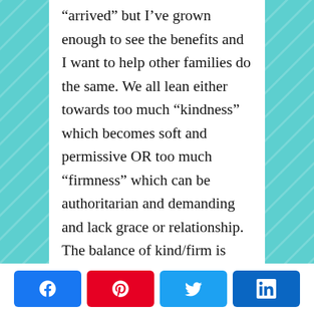“arrived” but I’ve grown enough to see the benefits and I want to help other families do the same. We all lean either towards too much “kindness” which becomes soft and permissive OR too much “firmness” which can be authoritarian and demanding and lack grace or relationship. The balance of kind/firm is such a key. I need to know that my limits are real and for their
[Figure (other): Social sharing buttons: Facebook (blue), Pinterest (red), Twitter (light blue), LinkedIn (dark blue)]